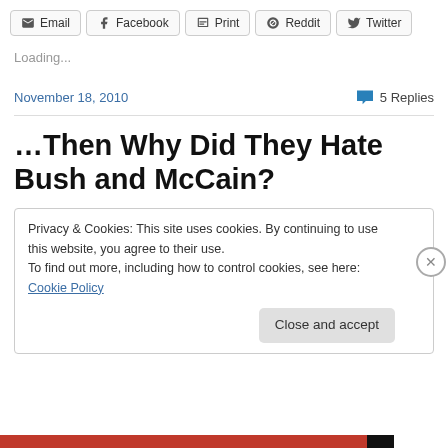Email | Facebook | Print | Reddit | Twitter
Loading...
November 18, 2010 · 5 Replies
…Then Why Did They Hate Bush and McCain?
Privacy & Cookies: This site uses cookies. By continuing to use this website, you agree to their use. To find out more, including how to control cookies, see here: Cookie Policy